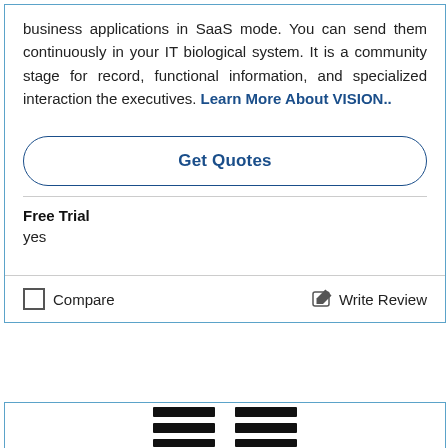business applications in SaaS mode. You can send them continuously in your IT biological system. It is a community stage for record, functional information, and specialized interaction the executives. Learn More About VISION..
Get Quotes
Free Trial
yes
Compare
Write Review
[Figure (logo): Partial logo image visible at the bottom of the page, black and white graphic]